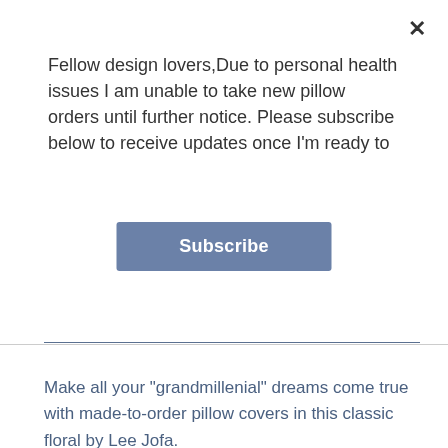Fellow design lovers,Due to personal health issues I am unable to take new pillow orders until further notice. Please subscribe below to receive updates once I'm ready to
Subscribe
Make all your "grandmillenial" dreams come true with made-to-order pillow covers in this classic floral by Lee Jofa.
Althea Blush is a cotton chintz with a cream background, and features greens, pinks, reds, beiges/tans, blue, and a hint of purple. I also offer Althea Citron.
Pattern placement will vary slightly, but all pillow covers will